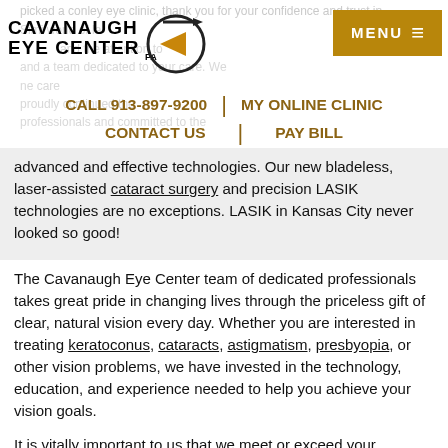[Figure (logo): Cavanaugh Eye Center logo with circular arrow icon and PA designation]
MENU ≡
CALL 913-897-9200 | MY ONLINE CLINIC
CONTACT US | PAY BILL
advanced and effective technologies. Our new bladeless, laser-assisted cataract surgery and precision LASIK technologies are no exceptions. LASIK in Kansas City never looked so good!
The Cavanaugh Eye Center team of dedicated professionals takes great pride in changing lives through the priceless gift of clear, natural vision every day. Whether you are interested in treating keratoconus, cataracts, astigmatism, presbyopia, or other vision problems, we have invested in the technology, education, and experience needed to help you achieve your vision goals.
It is vitally important to us that we meet or exceed your